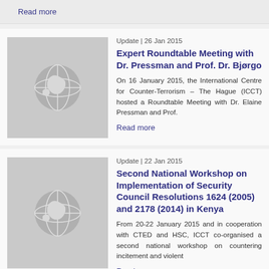Read more
Update | 26 Jan 2015
Expert Roundtable Meeting with Dr. Pressman and Prof. Dr. Bjørgo
On 16 January 2015, the International Centre for Counter-Terrorism – The Hague (ICCT) hosted a Roundtable Meeting with Dr. Elaine Pressman and Prof.
Read more
Update | 22 Jan 2015
Second National Workshop on Implementation of Security Council Resolutions 1624 (2005) and 2178 (2014) in Kenya
From 20-22 January 2015 and in cooperation with CTED and HSC, ICCT co-organised a second national workshop on countering incitement and violent
Read more